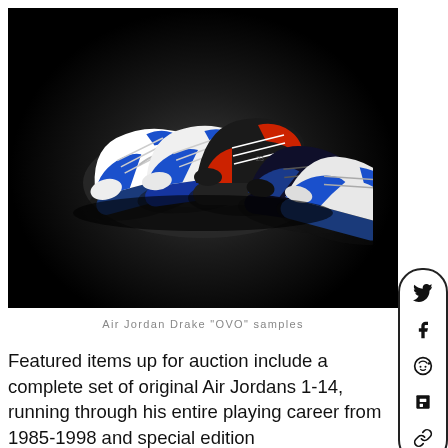[Figure (photo): Multiple Air Jordan sneakers displayed on a dark black background with dramatic spotlight lighting. The shoes include white, blue, black, and red colorways arranged in a fan/row pattern.]
Air Jordan Drake “OVO” samples
Featured items up for auction include a complete set of original Air Jordans 1-14, running through his entire playing career from 1985-1998 and special edition